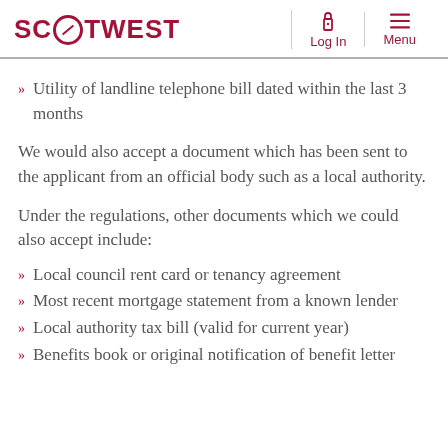SCOTWEST | Log In | Menu
Utility of landline telephone bill dated within the last 3 months
We would also accept a document which has been sent to the applicant from an official body such as a local authority.
Under the regulations, other documents which we could also accept include:
Local council rent card or tenancy agreement
Most recent mortgage statement from a known lender
Local authority tax bill (valid for current year)
Benefits book or original notification of benefit letter